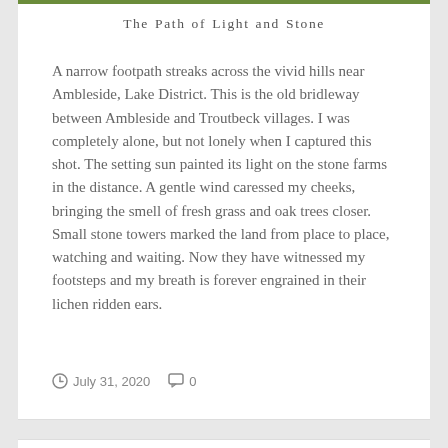The Path of Light and Stone
A narrow footpath streaks across the vivid hills near Ambleside, Lake District. This is the old bridleway between Ambleside and Troutbeck villages. I was completely alone, but not lonely when I captured this shot. The setting sun painted its light on the stone farms in the distance. A gentle wind caressed my cheeks, bringing the smell of fresh grass and oak trees closer. Small stone towers marked the land from place to place, watching and waiting. Now they have witnessed my footsteps and my breath is forever engrained in their lichen ridden ears.
July 31, 2020   0